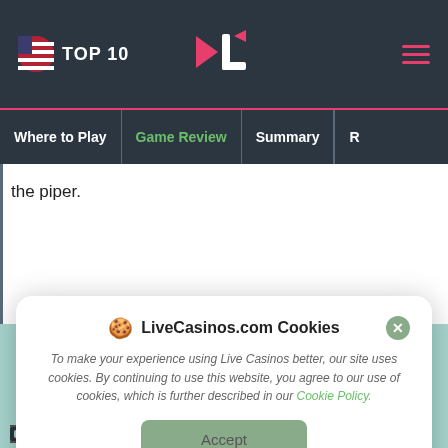TOP 10 | CL logo | hamburger menu
Where to Play | Game Review | Summary | R...
the piper.
Key Highlights
[Figure (screenshot): Cookie consent modal dialog for LiveCasinos.com with title 'LiveCasinos.com Cookies', body text about cookie usage, a Cookie Policy link, and an Accept button.]
Compatible with different platforms and system